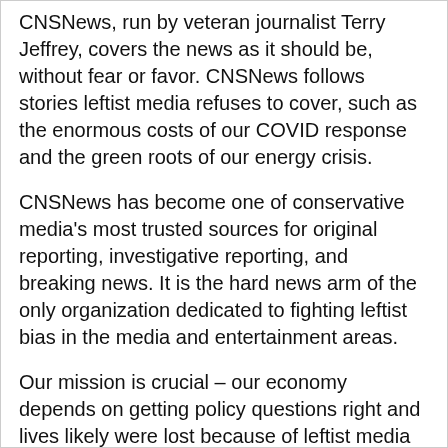CNSNews, run by veteran journalist Terry Jeffrey, covers the news as it should be, without fear or favor. CNSNews follows stories leftist media refuses to cover, such as the enormous costs of our COVID response and the green roots of our energy crisis.
CNSNews has become one of conservative media's most trusted sources for original reporting, investigative reporting, and breaking news. It is the hard news arm of the only organization dedicated to fighting leftist bias in the media and entertainment areas.
Our mission is crucial – our economy depends on getting policy questions right and lives likely were lost because of leftist media COVID misinformation – and we need your support.
Donate today to help CNSNews continue to report on topics that the liberal media refuse to touch. Your $25 a month will help us do the hard work of ensuring a free